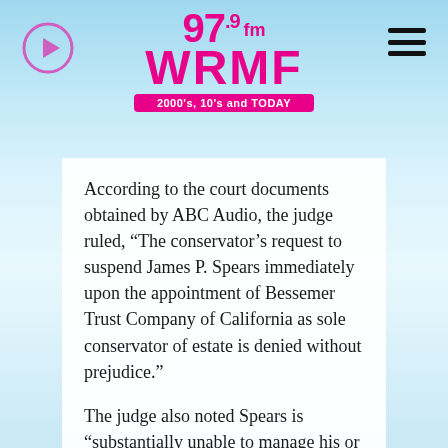[Figure (logo): 97.9 fm WRMF radio station logo in pink/magenta with tagline '2000's, 10's and TODAY']
According to the court documents obtained by ABC Audio, the judge ruled, “The conservator’s request to suspend James P. Spears immediately upon the appointment of Bessemer Trust Company of California as sole conservator of estate is denied without prejudice.”
The judge also noted Spears is “substantially unable to manage his or her financial resources or to resist fraud or undue influence.”
Wednesday’s ruling was only to approve Bessemer Trust as co-conservator.
The request to terminate Jamie Spears’ involvement in the conservatorship was initially filed in November